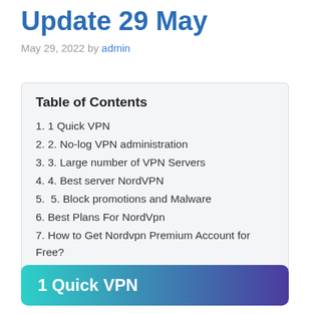Update 29 May
May 29, 2022 by admin
Table of Contents
1. 1 Quick VPN
2. 2. No-log VPN administration
3. 3. Large number of VPN Servers
4. 4. Best server NordVPN
5.  5. Block promotions and Malware
6. Best Plans For NordVpn
7. How to Get Nordvpn Premium Account for Free?
1 Quick VPN